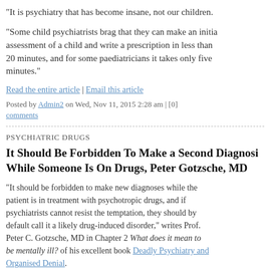“It is psychiatry that has become insane, not our children.
“Some child psychiatrists brag that they can make an initial assessment of a child and write a prescription in less than 20 minutes, and for some paediatricians it takes only five minutes.”
Read the entire article | Email this article
Posted by Admin2 on Wed, Nov 11, 2015 2:28 am | [0] comments
PSYCHIATRIC DRUGS
It Should Be Forbidden To Make a Second Diagnosis While Someone Is On Drugs, Peter Gotzsche, MD
“It should be forbidden to make new diagnoses while the patient is in treatment with psychotropic drugs, and if psychiatrists cannot resist the temptation, they should by default call it a likely drug-induced disorder,” writes Prof. Peter C. Gotzsche, MD in Chapter 2 What does it mean to be mentally ill? of his excellent book Deadly Psychiatry and Organised Denial.
“Doctors need to realise that it’s impossible to judge